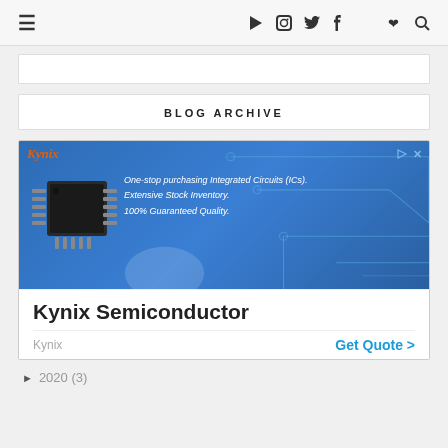≡  ▶ 📷 🐦 f ♥  🔍
BLOG ARCHIVE
[Figure (screenshot): Kynix Semiconductor advertisement showing an integrated circuit chip on a blue background with circuit board lines. Text reads: One-stop purchasing Integrated Circuits (ICs). Extensive Stock Inventory. 100% Guaranteed Quality. Bottom section shows Kynix Semiconductor heading, Kynix label and Get Quote > link.]
► 2020 (3)